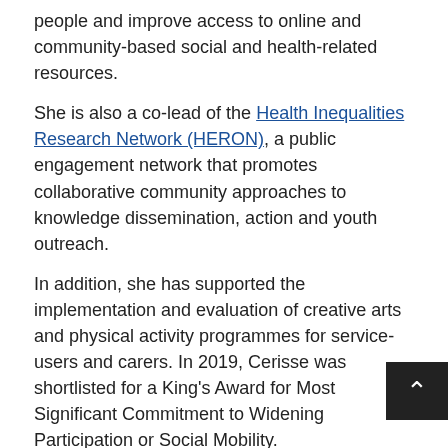people and improve access to online and community-based social and health-related resources.
She is also a co-lead of the Health Inequalities Research Network (HERON), a public engagement network that promotes collaborative community approaches to knowledge dissemination, action and youth outreach.
In addition, she has supported the implementation and evaluation of creative arts and physical activity programmes for service-users and carers. In 2019, Cerisse was shortlisted for a King's Award for Most Significant Commitment to Widening Participation or Social Mobility.
Dr Paul Stokes
Dr Paul Stokes studied medicine at the University of Birmingham and completed clinical training in Psychiatry at the Maudsley Hospital, London. In his doctoral studies at Imperial College London, Dr Stokes used PET and fMRI neuroimaging to examine the role of neurotransmitter systems in mediating psychosis, addictions and mood